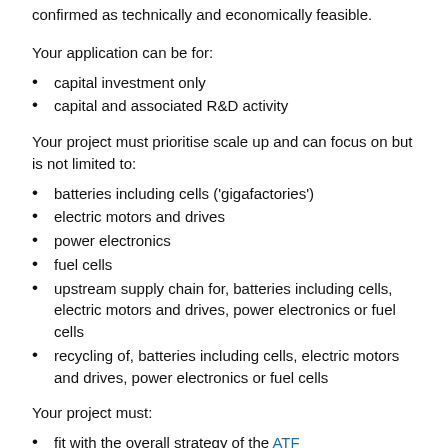confirmed as technically and economically feasible.
Your application can be for:
capital investment only
capital and associated R&D activity
Your project must prioritise scale up and can focus on but is not limited to:
batteries including cells ('gigafactories')
electric motors and drives
power electronics
fuel cells
upstream supply chain for, batteries including cells, electric motors and drives, power electronics or fuel cells
recycling of, batteries including cells, electric motors and drives, power electronics or fuel cells
Your project must:
fit with the overall strategy of the ATF
offer value for money for the UK
have an ongoing benefit to the UK from the exploitation